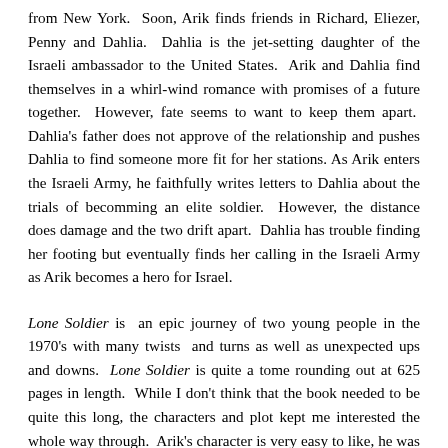from New York. Soon, Arik finds friends in Richard, Eliezer, Penny and Dahlia. Dahlia is the jet-setting daughter of the Israeli ambassador to the United States. Arik and Dahlia find themselves in a whirl-wind romance with promises of a future together. However, fate seems to want to keep them apart. Dahlia's father does not approve of the relationship and pushes Dahlia to find someone more fit for her stations. As Arik enters the Israeli Army, he faithfully writes letters to Dahlia about the trials of becomming an elite soldier. However, the distance does damage and the two drift apart. Dahlia has trouble finding her footing but eventually finds her calling in the Israeli Army as Arik becomes a hero for Israel.
Lone Soldier is an epic journey of two young people in the 1970's with many twists and turns as well as unexpected ups and downs. Lone Soldier is quite a tome rounding out at 625 pages in length. While I don't think that the book needed to be quite this long, the characters and plot kept me interested the whole way through. Arik's character is very easy to like, he was hardworking, wholesome and could see the bigger picture in life, though he can almost seems too perfect at times. Dahlia is at first very much a spoiled princess, however, her